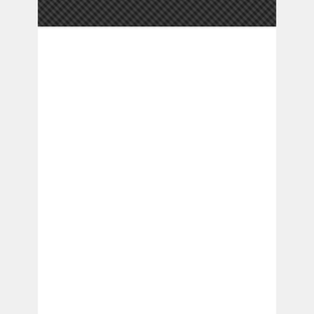[Figure (photo): Carpet texture image showing dark diagonal woven pattern at top of page]
Posted by: Gabrielle  in ideas  November 28, 2019  214 Views
Portico Dominator 20" x 20" Multi Level Loop Carpet Tile Color:
[Figure (photo): Thumbnail of navy blue carpet tile sample]
[Figure (photo): Thumbnail of wood-look flooring sample]